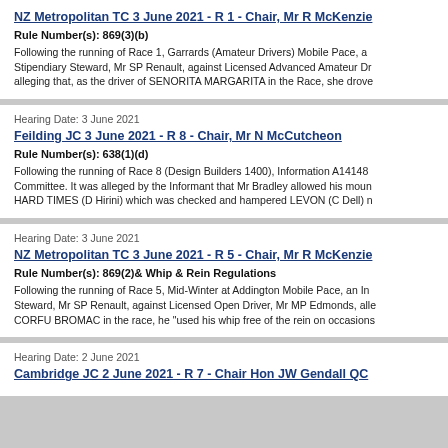NZ Metropolitan TC 3 June 2021 - R 1 - Chair, Mr R McKenzie
Rule Number(s): 869(3)(b)
Following the running of Race 1, Garrards (Amateur Drivers) Mobile Pace, an Stipendiary Steward, Mr SP Renault, against Licensed Advanced Amateur Dr alleging that, as the driver of SENORITA MARGARITA in the Race, she drove
Hearing Date: 3 June 2021
Feilding JC 3 June 2021 - R 8 - Chair, Mr N McCutcheon
Rule Number(s): 638(1)(d)
Following the running of Race 8 (Design Builders 1400), Information A14148 Committee. It was alleged by the Informant that Mr Bradley allowed his moun HARD TIMES (D Hirini) which was checked and hampered LEVON (C Dell) n
Hearing Date: 3 June 2021
NZ Metropolitan TC 3 June 2021 - R 5 - Chair, Mr R McKenzie
Rule Number(s): 869(2)& Whip & Rein Regulations
Following the running of Race 5, Mid-Winter at Addington Mobile Pace, an Inf Steward, Mr SP Renault, against Licensed Open Driver, Mr MP Edmonds, alle CORFU BROMAC in the race, he "used his whip free of the rein on occasions
Hearing Date: 2 June 2021
Cambridge JC 2 June 2021 - R 7 - Chair Hon JW Gendall QC